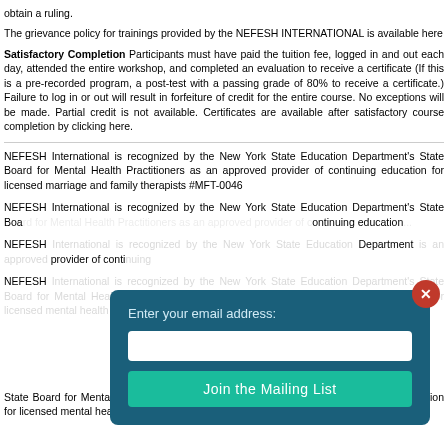obtain a ruling.
The grievance policy for trainings provided by the NEFESH INTERNATIONAL is available here
Satisfactory Completion Participants must have paid the tuition fee, logged in and out each day, attended the entire workshop, and completed an evaluation to receive a certificate (If this is a pre-recorded program, a post-test with a passing grade of 80% to receive a certificate.) Failure to log in or out will result in forfeiture of credit for the entire course. No exceptions will be made. Partial credit is not available. Certificates are available after satisfactory course completion by clicking here.
NEFESH International is recognized by the New York State Education Department's State Board for Mental Health Practitioners as an approved provider of continuing education for licensed marriage and family therapists #MFT-0046
NEFESH International is recognized by the New York State Education Department's State Board for Mental Health Practitioners as an approved provider of continuing education
NEFESH International is recognized by the New York State Education Department as a provider of continuing
NEFESH International is recognized by the New York State Education Department's State Board for Mental Health Practitioners as an approved provider of continuing education for licensed mental health counselors. #MHC-0082
[Figure (screenshot): Modal dialog with teal background, email input field, and 'Join the Mailing List' button, with red X close button]